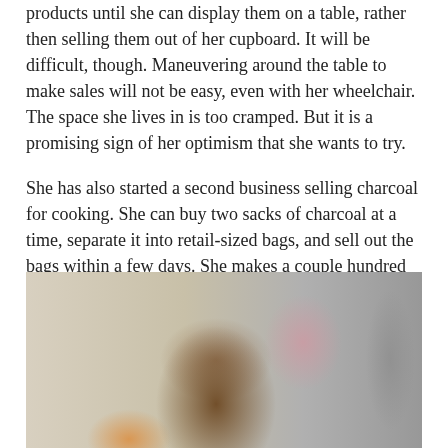products until she can display them on a table, rather then selling them out of her cupboard. It will be difficult, though. Maneuvering around the table to make sales will not be easy, even with her wheelchair. The space she lives in is too cramped. But it is a promising sign of her optimism that she wants to try.
She has also started a second business selling charcoal for cooking. She can buy two sacks of charcoal at a time, separate it into retail-sized bags, and sell out the bags within a few days. She makes a couple hundred gourds on each sack.
[Figure (photo): Portrait photo of a woman smiling, wearing an orange top and a pink cloth/headwrap, leaning against what appears to be a concrete or stone wall with a patterned curtain on the left side.]